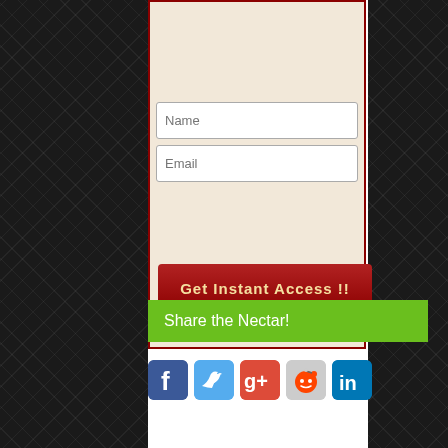[Figure (screenshot): Web form with Name and Email fields, a dark red 'Get Instant Access !!' button, and a privacy note. Below is a green 'Share the Nectar!' bar and social media icons for Facebook, Twitter, Google+, Reddit, and LinkedIn.]